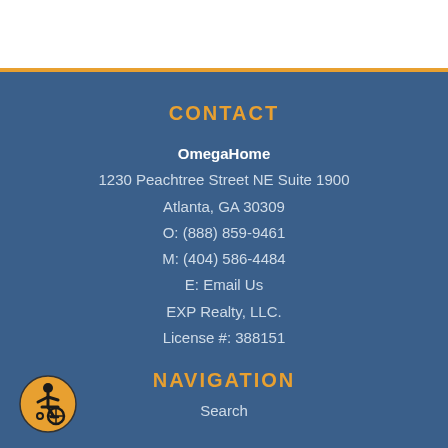CONTACT
OmegaHome
1230 Peachtree Street NE Suite 1900
Atlanta, GA 30309
O: (888) 859-9461
M: (404) 586-4484
E: Email Us
EXP Realty, LLC.
License #: 388151
NAVIGATION
Search
[Figure (illustration): Accessibility icon: orange circle with wheelchair user symbol in black]